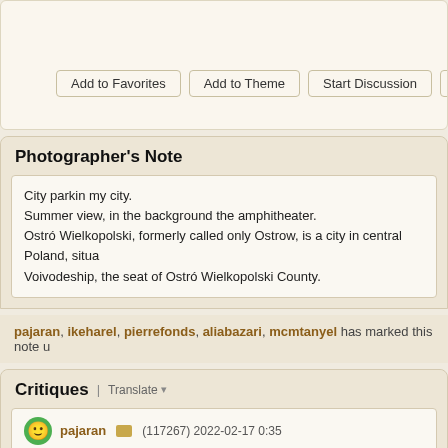Add to Favorites | Add to Theme | Start Discussion | Po...
Photographer's Note
City parkin my city.
Summer view, in the background the amphitheater.
Ostró Wielkopolski, formerly called only Ostrow, is a city in central Poland, situa... Voivodeship, the seat of Ostró Wielkopolski County.
pajaran, ikeharel, pierrefonds, aliabazari, mcmtanyel has marked this note u...
Critiques | Translate
pajaran (117267) 2022-02-17 0:35